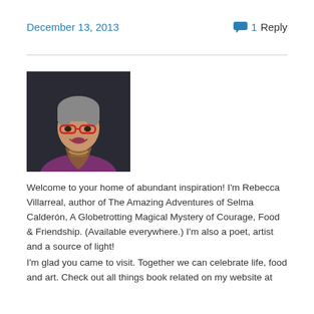December 13, 2013    1 Reply
[Figure (photo): Portrait photo of a woman with short gray hair, red glasses, and a purple top with a scarf, smiling against a dark background.]
Welcome to your home of abundant inspiration! I'm Rebecca Villarreal, author of The Amazing Adventures of Selma Calderón, A Globetrotting Magical Mystery of Courage, Food & Friendship. (Available everywhere.) I'm also a poet, artist and a source of light!
I'm glad you came to visit. Together we can celebrate life, food and art. Check out all things book related on my website at